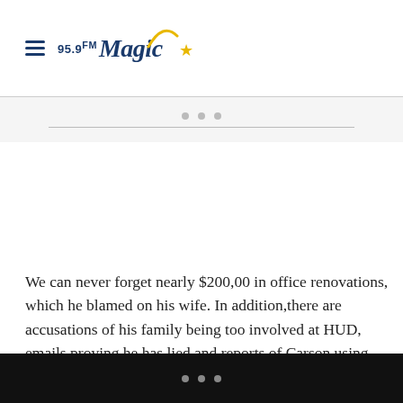95.9 Magic
[Figure (logo): 95.9 Magic radio station logo with hamburger menu icon, blue italic text and gold star/arc graphic]
We can never forget nearly $200,00 in office renovations, which he blamed on his wife. In addition,there are accusations of his family being too involved at HUD, emails proving he has lied and reports of Carson using taxpayer money for private planes. Oh, and Katrina Hubbard, an executive assistant and one of the few Black people who worked at HUD, was fired for